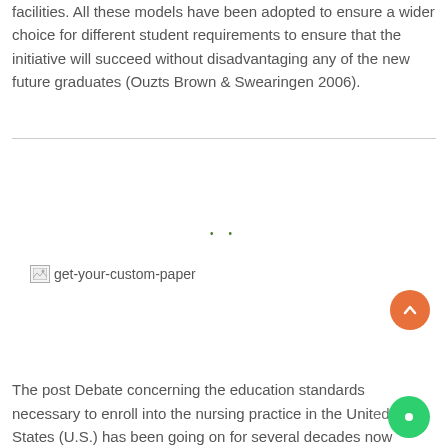facilities. All these models have been adopted to ensure a wider choice for different student requirements to ensure that the initiative will succeed without disadvantaging any of the new future graduates (Ouzts Brown & Swearingen 2006).
[Figure (other): Two small green dots centered on the page, decorative separator]
[Figure (other): Broken image placeholder labeled 'get-your-custom-paper']
The post Debate concerning the education standards necessary to enroll into the nursing practice in the United States (U.S.) has been going on for several decades now